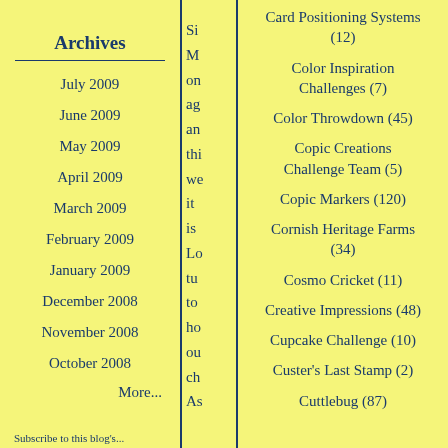Archives
July 2009
June 2009
May 2009
April 2009
March 2009
February 2009
January 2009
December 2008
November 2008
October 2008
More...
Si
M
on
ag
an
thi
we
it
is
Lo
tu
to
ho
ou
ch
As
Card Positioning Systems (12)
Color Inspiration Challenges (7)
Color Throwdown (45)
Copic Creations Challenge Team (5)
Copic Markers (120)
Cornish Heritage Farms (34)
Cosmo Cricket (11)
Creative Impressions (48)
Cupcake Challenge (10)
Custer's Last Stamp (2)
Cuttlebug (87)